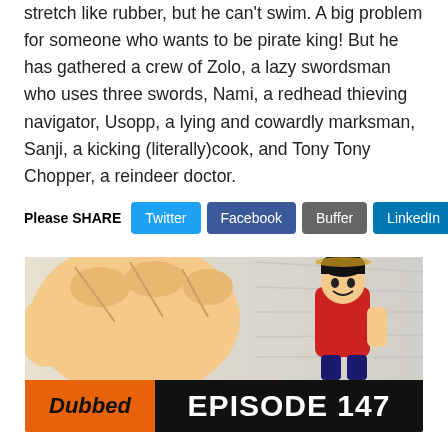stretch like rubber, but he can't swim. A big problem for someone who wants to be pirate king! But he has gathered a crew of Zolo, a lazy swordsman who uses three swords, Nami, a redhead thieving navigator, Usopp, a lying and cowardly marksman, Sanji, a kicking (literally)cook, and Tony Tony Chopper, a reindeer doctor.
Please SHARE  Twitter  Facebook  Buffer  LinkedIn  Pin It
[Figure (illustration): Anime illustration of a character punching with a large fist in the foreground, and a character in a red outfit smiling in the background. Banner at the bottom reads 'Dubbed EPISODE 147' with 'Dubbed' on an orange background and 'EPISODE 147' on a black background.]